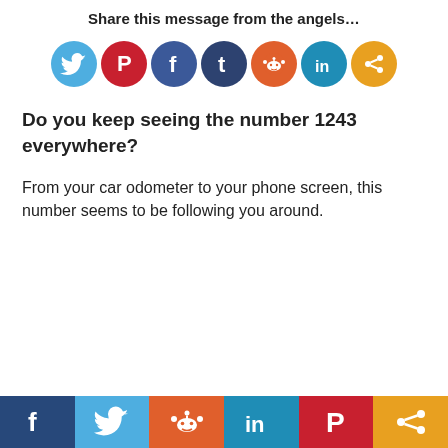Share this message from the angels…
[Figure (infographic): Row of social media share buttons: Twitter (blue bird), Pinterest (red P), Facebook (blue f), Tumblr (dark blue t), Reddit (orange alien), LinkedIn (blue in), Share (orange <)]
Do you keep seeing the number 1243 everywhere?
From your car odometer to your phone screen, this number seems to be following you around.
[Figure (infographic): Bottom bar with social share buttons: Facebook (dark blue), Twitter (light blue), Reddit (orange), LinkedIn (teal), Pinterest (red), Share (orange)]